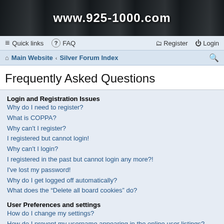www.925-1000.com
Quick links  FAQ  Register  Login
Main Website › Silver Forum Index
Frequently Asked Questions
Login and Registration Issues
Why do I need to register?
What is COPPA?
Why can't I register?
I registered but cannot login!
Why can't I login?
I registered in the past but cannot login any more?!
I've lost my password!
Why do I get logged off automatically?
What does the "Delete all board cookies" do?
User Preferences and settings
How do I change my settings?
How do I prevent my username appearing in the online user listings?
The times are not correct!
I changed the timezone and the time is still wrong!